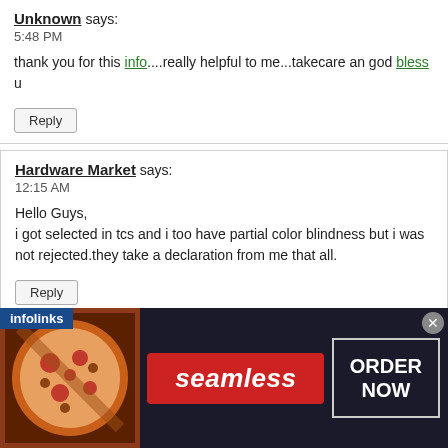Unknown says:
5:48 PM

thank you for this info....really helpful to me...takecare an god bless u
Reply
Hardware Market says:
12:15 AM

Hello Guys,
i got selected in tcs and i too have partial color blindness but i was not rejected.they take a declaration from me that all.
Reply
Anonymous says:
11:53 PM
[Figure (screenshot): Advertisement banner for Seamless food ordering service with pizza image on the left, red Seamless logo in center, and ORDER NOW box on the right. Infolinks badge at top left and close button at top right.]